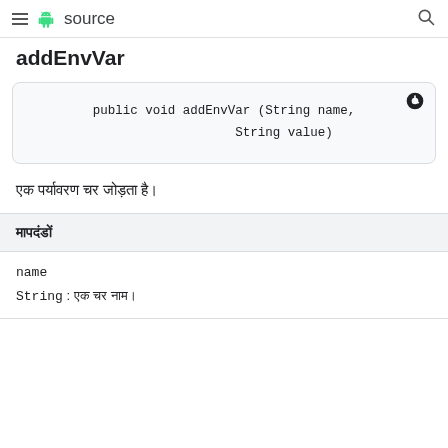≡ 🤖 source 🔍
addEnvVar
[Figure (screenshot): Code block showing: public void addEnvVar (String name, String value)]
एक पर्यावरण चर जोड़ता है।
| मापदंडों |
| --- |
| name |
| String: एक चर नाम। |